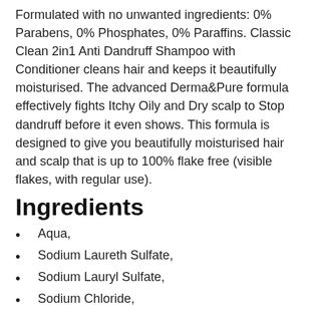Formulated with no unwanted ingredients: 0% Parabens, 0% Phosphates, 0% Paraffins. Classic Clean 2in1 Anti Dandruff Shampoo with Conditioner cleans hair and keeps it beautifully moisturised. The advanced Derma&Pure formula effectively fights Itchy Oily and Dry scalp to Stop dandruff before it even shows. This formula is designed to give you beautifully moisturised hair and scalp that is up to 100% flake free (visible flakes, with regular use).
Ingredients
Aqua,
Sodium Laureth Sulfate,
Sodium Lauryl Sulfate,
Sodium Chloride,
Sodium Xylenesulfonate,
Cocamidopropyl Betaine,
Glycol Distearate,